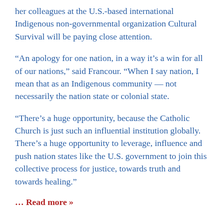her colleagues at the U.S.-based international Indigenous non-governmental organization Cultural Survival will be paying close attention.
“An apology for one nation, in a way it’s a win for all of our nations,” said Francour. “When I say nation, I mean that as an Indigenous community — not necessarily the nation state or colonial state.
“There’s a huge opportunity, because the Catholic Church is just such an influential institution globally. There’s a huge opportunity to leverage, influence and push nation states like the U.S. government to join this collective process for justice, towards truth and towards healing.”
... Read more »